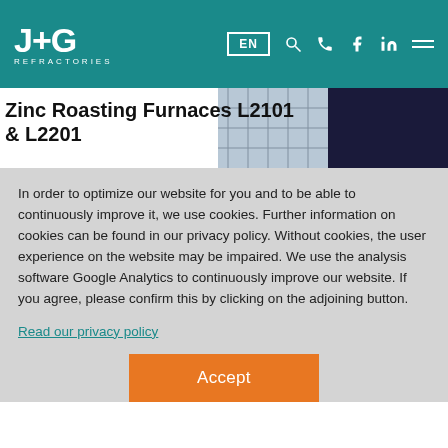J+G REFRACTORIES — EN navigation header
Zinc Roasting Furnaces L2101 & L2201
In order to optimize our website for you and to be able to continuously improve it, we use cookies. Further information on cookies can be found in our privacy policy. Without cookies, the user experience on the website may be impaired. We use the analysis software Google Analytics to continuously improve our website. If you agree, please confirm this by clicking on the adjoining button.
Read our privacy policy
Accept